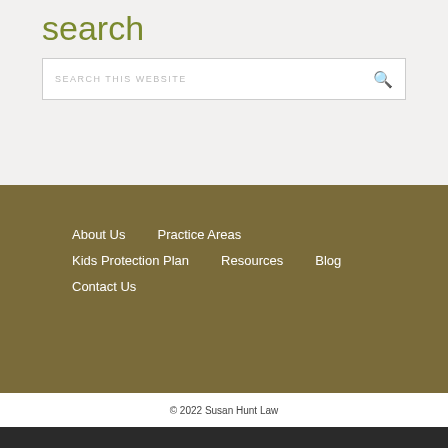search
SEARCH THIS WEBSITE
About Us
Practice Areas
Kids Protection Plan
Resources
Blog
Contact Us
© 2022 Susan Hunt Law